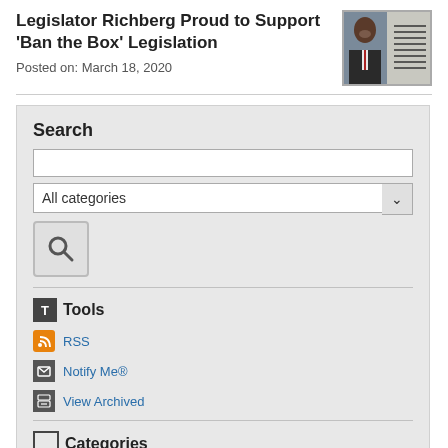Legislator Richberg Proud to Support 'Ban the Box' Legislation
Posted on: March 18, 2020
[Figure (photo): Composite photo showing a smiling man in suit on left and a document with red circle highlight on right]
Search
Tools
RSS
Notify Me®
View Archived
Categories
All Categories
Home - What's Happening
DO 12 - Leg. Kennedy - PR